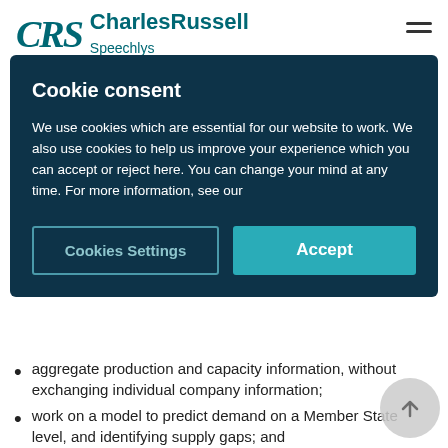CRS CharlesRussell
[Figure (screenshot): Cookie consent modal overlay with dark navy background. Title: 'Cookie consent'. Body text: 'We use cookies which are essential for our website to work. We also use cookies to help us improve your experience which you can accept or reject here. You can change your mind at any time. For more information, see our'. Two buttons: 'Cookies Settings' (outlined) and 'Accept' (teal filled).]
aggregate production and capacity information, without exchanging individual company information;
work on a model to predict demand on a Member State level, and identifying supply gaps; and
share aggregate supply gap information, and request participating companies, on an individual basis and without sharing that information with competitors, to indicate whether they can fill the supply gap to meet